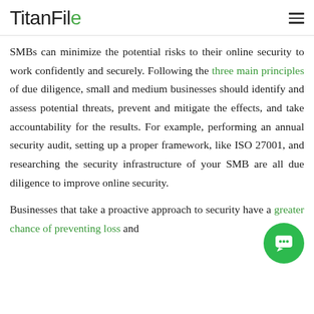TitanFile
SMBs can minimize the potential risks to their online security to work confidently and securely. Following the three main principles of due diligence, small and medium businesses should identify and assess potential threats, prevent and mitigate the effects, and take accountability for the results. For example, performing an annual security audit, setting up a proper framework, like ISO 27001, and researching the security infrastructure of your SMB are all due diligence to improve online security.
Businesses that take a proactive approach to security have a greater chance of preventing loss and